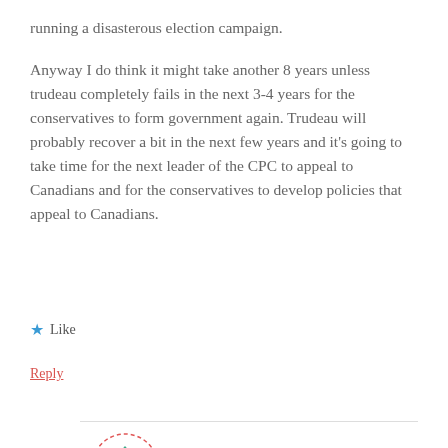running a disasterous election campaign.
Anyway I do think it might take another 8 years unless trudeau completely fails in the next 3-4 years for the conservatives to form government again. Trudeau will probably recover a bit in the next few years and it's going to take time for the next leader of the CPC to appeal to Canadians and for the conservatives to develop policies that appeal to Canadians.
★ Like
Reply
[Figure (illustration): Circular avatar icon with a quilt/geometric pattern in teal/green and white, surrounded by a dashed red border circle]
afiscalconservativepointofview
OCTOBER 22, 2019 AT 8:49 PM